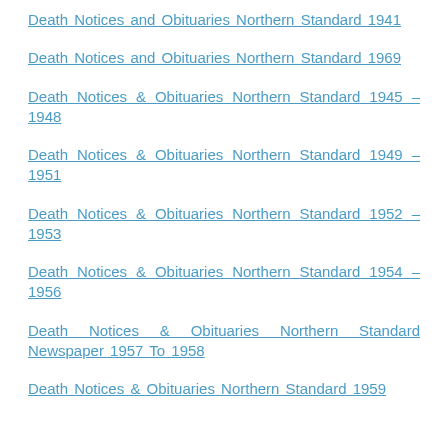Death Notices and Obituaries Northern Standard 1941
Death Notices and Obituaries Northern Standard 1969
Death Notices & Obituaries Northern Standard 1945 – 1948
Death Notices & Obituaries Northern Standard 1949 – 1951
Death Notices & Obituaries Northern Standard 1952 – 1953
Death Notices & Obituaries Northern Standard 1954 – 1956
Death Notices & Obituaries Northern Standard Newspaper 1957 To 1958
Death Notices & Obituaries Northern Standard 1959